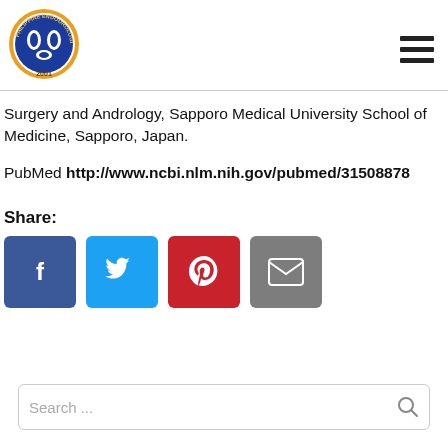[Figure (logo): Philippine Endourological Society circular logo with blue center and orange border, year 2001]
Surgery and Andrology, Sapporo Medical University School of Medicine, Sapporo, Japan.
PubMed http://www.ncbi.nlm.nih.gov/pubmed/31508878
Share:
[Figure (infographic): Social share buttons: Facebook (blue), Twitter (cyan), Pinterest (red), Email (gray)]
Search ...